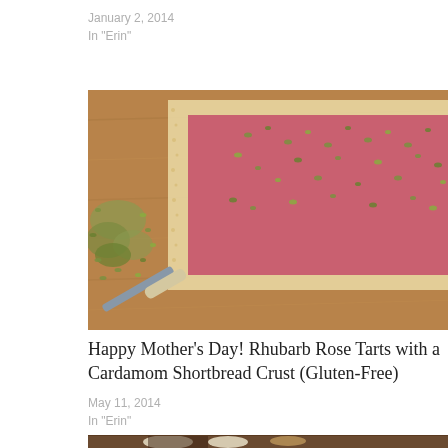January 2, 2014
In "Erin"
[Figure (photo): A rhubarb tart with rose filling topped with crushed pistachios on a wooden cutting board, with a knife and scattered pistachio pieces beside it.]
Happy Mother's Day! Rhubarb Rose Tarts with a Cardamom Shortbread Crust (Gluten-Free)
May 11, 2014
In "Erin"
[Figure (photo): A dish with dark chocolate sauce and pale cream or banana slices on a plate, partially visible at bottom of page.]